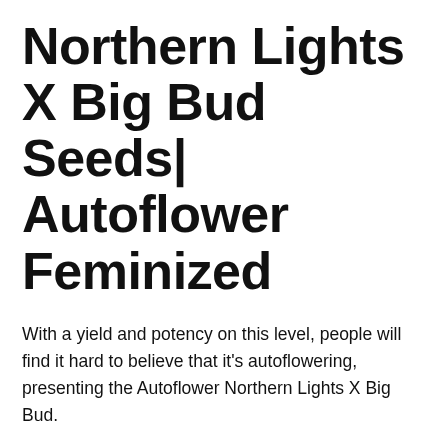Northern Lights X Big Bud Seeds| Autoflower Feminized
With a yield and potency on this level, people will find it hard to believe that it’s autoflowering, presenting the Autoflower Northern Lights X Big Bud.
By combining the mythical genetics of the Northern Lights, Big Bud, and Ruderalis, we are able to produce this massive, resinous autoflower complete with an invitingly fruity aroma.
Flowering times should fall at around 55 days, the Auto NL